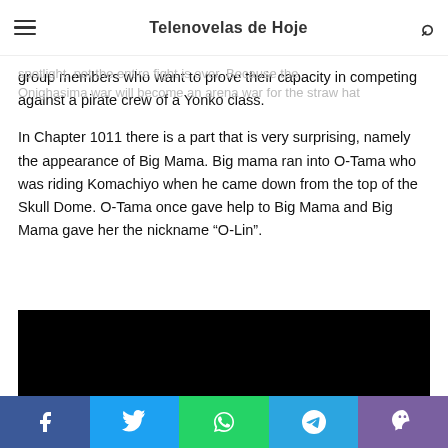Telenovelas de Hoje
But Luffy's fight against Kaido will of course be steak in the spotlight, not the entire fight is over. Because the Onighasima war will become an arena war for the straw hat group members who want to prove their capacity in competing against a pirate crew of a Yonko class.
In Chapter 1011 there is a part that is very surprising, namely the appearance of Big Mama. Big mama ran into O-Tama who was riding Komachiyo when he came down from the top of the Skull Dome. O-Tama once gave help to Big Mama and Big Mama gave her the nickname “O-Lin”.
[Figure (other): Black video player embed area]
Social share bar with Facebook, Twitter, WhatsApp, Telegram, Viber